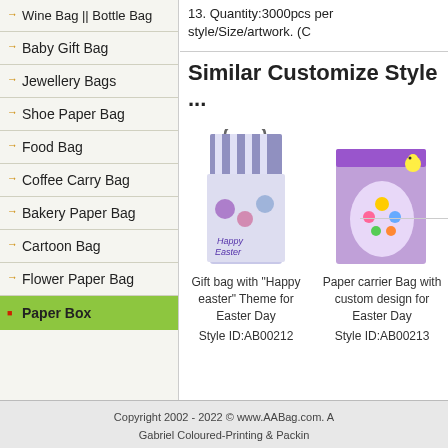Wine Bag || Bottle Bag
Baby Gift Bag
Jewellery Bags
Shoe Paper Bag
Food Bag
Coffee Carry Bag
Bakery Paper Bag
Cartoon Bag
Flower Paper Bag
Paper Box
Quality Assurance
Quality is our life and give the best quality to our clients
13. Quantity:3000pcs per style/Size/artwork. (C
Similar Customize Style ...
[Figure (photo): Gift bag with 'Happy Easter' theme - purple and white striped gift bag with Easter decorations]
Gift bag with "Happy easter" Theme for Easter Day
Style ID:AB00212
[Figure (photo): Paper carrier bag with custom Easter design - purple bag with floral Easter egg pattern]
Paper carrier Bag with custom design for Easter Day
Style ID:AB00213
Copyright 2002 - 2022 © www.AABag.com. A
Gabriel Coloured-Printing & Packin
Custom Printed Paper Bags & Pape